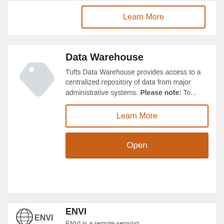Learn More
Data Warehouse
Tufts Data Warehouse provides access to a centralized repository of data from major administrative systems. Please note: To...
Learn More
Open
ENVI
ENVI is a remote sensing